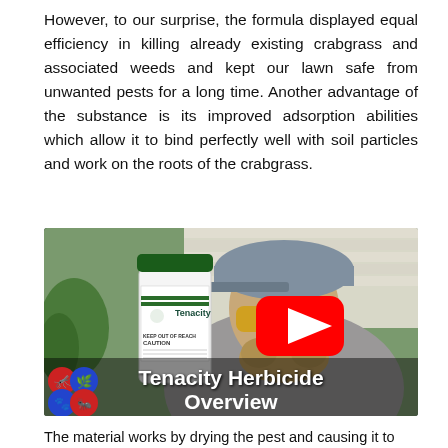However, to our surprise, the formula displayed equal efficiency in killing already existing crabgrass and associated weeds and kept our lawn safe from unwanted pests for a long time. Another advantage of the substance is its improved adsorption abilities which allow it to bind perfectly well with soil particles and work on the roots of the crabgrass.
[Figure (photo): A man wearing a blue cap and yellow sunglasses holds up a bottle of Tenacity herbicide product outdoors. A YouTube play button overlay is centered on the image. Text overlay at bottom reads 'Tenacity Herbicide Overview' with pest-control icons in the bottom-left corner.]
The material works by drying the pest and causing it to